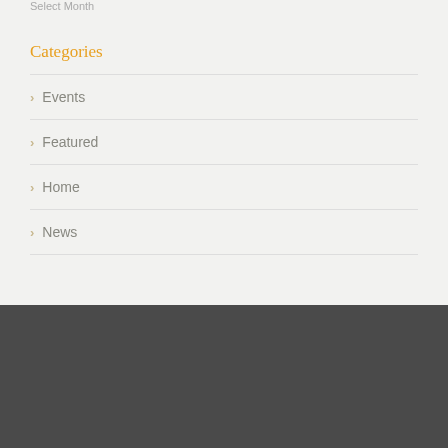Select Month
Categories
Events
Featured
Home
News
SUBSCRIBE TO BLOG VIA EMAIL
LINKS
Enter your email address
MechEng Department